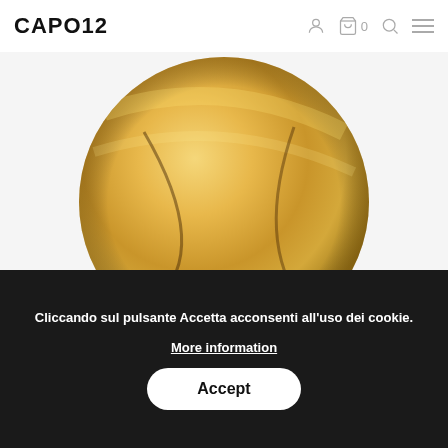CAPO12
[Figure (photo): Close-up photo of a round gold/brass colored pasta die with a stylized 'G' logo embossed in the center, on a light grey background. The disc reflects light giving a warm golden tone.]
"Bronze" Die N° 142 CAVATELLI
€28.90 Vat included
Add to basket
Cliccando sul pulsante Accetta acconsenti all'uso dei cookie.
More information
Accept